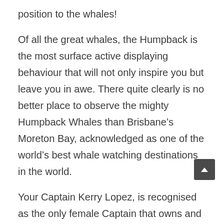position to the whales!
Of all the great whales, the Humpback is the most surface active displaying behaviour that will not only inspire you but leave you in awe. There quite clearly is no better place to observe the mighty Humpback Whales than Brisbane’s Moreton Bay, acknowledged as one of the world’s best whale watching destinations in the world.
Your Captain Kerry Lopez, is recognised as the only female Captain that owns and skippers a whale watching venture in the South Pacific rim. Kerry’s skilled and dedicated friendly crew will assure you an unforgettable whale watching adventure.